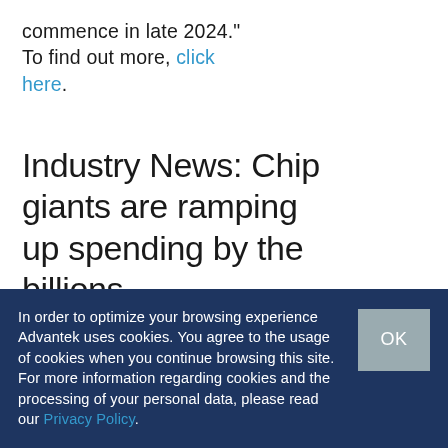commence in late 2024." To find out more, click here.
Industry News: Chip giants are ramping up spending by the billions
Written by
adv. admin. on 9, February 202...
In order to optimize your browsing experience Advantek uses cookies. You agree to the usage of cookies when you continue browsing this site. For more information regarding cookies and the processing of your personal data, please read our Privacy Policy.
OK